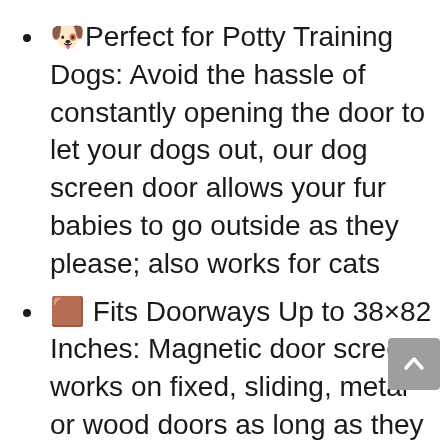🐶Perfect for Potty Training Dogs: Avoid the hassle of constantly opening the door to let your dogs out, our dog screen door allows your fur babies to go outside as they please; also works for cats
🚪Fits Doorways Up to 38×82 Inches: Magnetic door screen works on fixed, sliding, metal or wood doors as long as they measure up to 38×82 inches. Important: Measure your door before ordering to ensure fit
😊Kid Friendly: Hard to reach door handles and difficult door